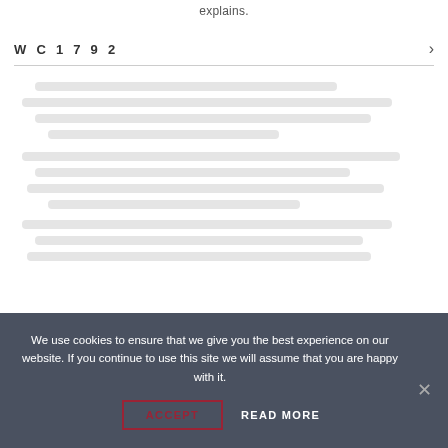explains.
WC1792
[Figure (other): Blurred/redacted article content area beneath the WC1792 section header]
We use cookies to ensure that we give you the best experience on our website. If you continue to use this site we will assume that you are happy with it.
ACCEPT
READ MORE